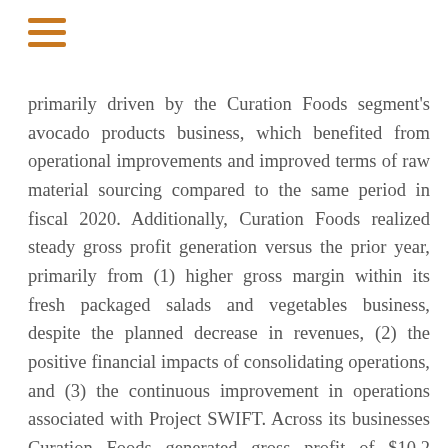[Figure (other): Hamburger menu icon with three horizontal orange/golden lines]
primarily driven by the Curation Foods segment's avocado products business, which benefited from operational improvements and improved terms of raw material sourcing compared to the same period in fiscal 2020. Additionally, Curation Foods realized steady gross profit generation versus the prior year, primarily from (1) higher gross margin within its fresh packaged salads and vegetables business, despite the planned decrease in revenues, (2) the positive financial impacts of consolidating operations, and (3) the continuous improvement in operations associated with Project SWIFT. Across its businesses Curation Foods generated gross profit of $10.2 million, a $2.2 million, or 47.5%